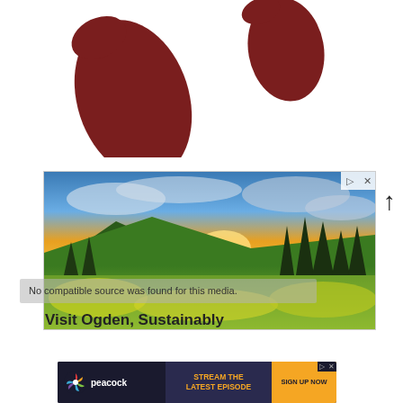[Figure (illustration): Two large dark reddish-brown footprint shapes (toes pointing left) on white background, resembling a logo or icon top portion]
[Figure (photo): Landscape photo of mountain meadow with yellow wildflowers, evergreen trees, and dramatic sunset sky with clouds]
No compatible source was found for this media.
Visit Ogden, Sustainably
[Figure (screenshot): Peacock streaming service advertisement banner: 'STREAM THE LATEST EPISODE' with 'SIGN UP NOW' button]